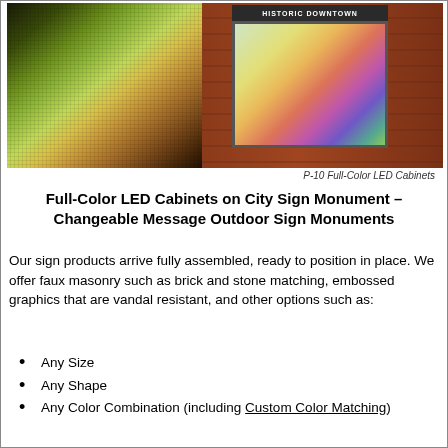[Figure (photo): Two photos side by side: left shows a close-up of a colorful LED display panel surface with green/yellow/purple light patterns; right shows a full-color LED cabinet mounted on a brick city sign monument reading 'Historic Downtown', displaying a color wheel image.]
P-10 Full-Color LED Cabinets
Full-Color LED Cabinets on City Sign Monument – Changeable Message Outdoor Sign Monuments
Our sign products arrive fully assembled, ready to position in place. We offer faux masonry such as brick and stone matching, embossed graphics that are vandal resistant, and other options such as:
Any Size
Any Shape
Any Color Combination (including Custom Color Matching)